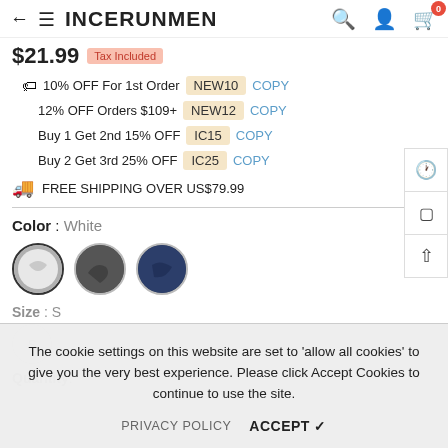INCERUNMEN
$21.99  Tax Included
10% OFF For 1st Order  NEW10  COPY
12% OFF Orders $109+  NEW12  COPY
Buy 1 Get 2nd 15% OFF  IC15  COPY
Buy 2 Get 3rd 25% OFF  IC25  COPY
FREE SHIPPING OVER US$79.99
Color : White
[Figure (photo): Three circular color swatches showing white/light, dark, and navy clothing options]
Size : S
Quantity:
The cookie settings on this website are set to 'allow all cookies' to give you the very best experience. Please click Accept Cookies to continue to use the site.
PRIVACY POLICY  ACCEPT ✓